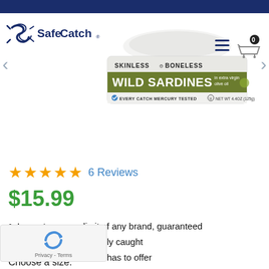[Figure (screenshot): SafeCatch brand logo with stylized fish icon and text 'SafeCatch']
[Figure (photo): SafeCatch Skinless Boneless Wild Sardines in Extra Virgin Olive Oil product can, 4.4oz (125g). Label shows 'Every Catch Mercury Tested' with checkmark and OU kosher symbol.]
★★★★★ 6 Reviews
$15.99
Lowest mercury limit of any brand, guaranteed
Always wild, sustainably caught
e best seafood nature has to offer
Choose a size: